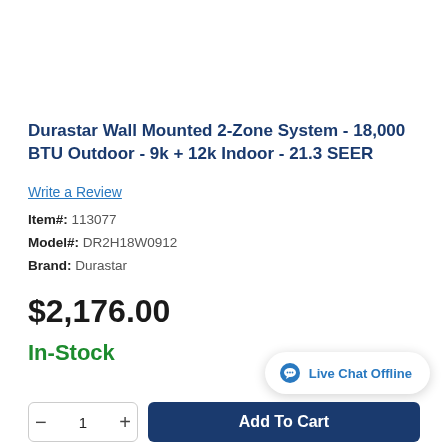Durastar Wall Mounted 2-Zone System - 18,000 BTU Outdoor - 9k + 12k Indoor - 21.3 SEER
Write a Review
Item#: 113077
Model#: DR2H18W0912
Brand: Durastar
$2,176.00
In-Stock
Live Chat Offline
- 1 + Add To Cart